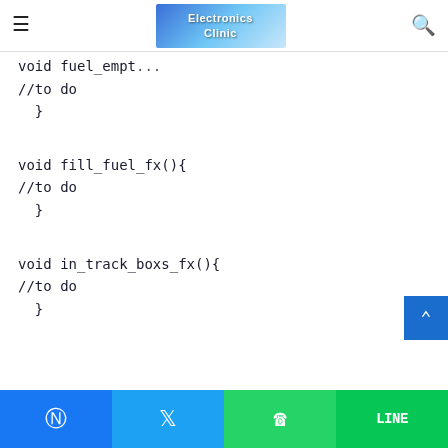Electronics Clinic - navigation bar with hamburger menu and search icon
void fuel_empt...
//to do
  }
void fill_fuel_fx(){
//to do
  }
void in_track_boxs_fx(){
//to do
  }
void pause_track_boxs_fx(){
//to do
  }
Facebook | Twitter | WhatsApp | LINE share buttons